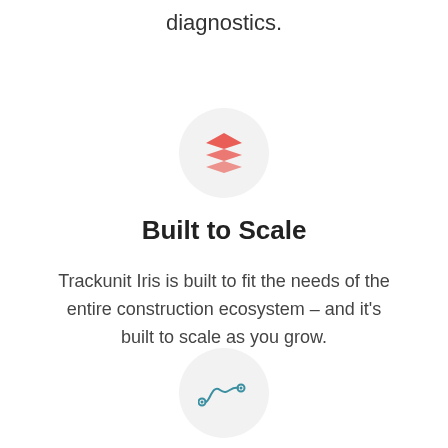diagnostics.
[Figure (illustration): Red stacked layers icon inside a light gray circle]
Built to Scale
Trackunit Iris is built to fit the needs of the entire construction ecosystem – and it's built to scale as you grow.
[Figure (illustration): Teal squiggly line / analytics icon inside a light gray circle]